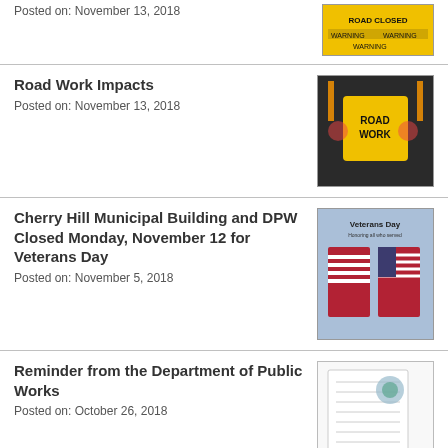Posted on: November 13, 2018
[Figure (photo): Road closed warning signs with yellow tape]
Road Work Impacts
Posted on: November 13, 2018
[Figure (photo): Road Work sign with orange construction barriers]
Cherry Hill Municipal Building and DPW Closed Monday, November 12 for Veterans Day
Posted on: November 5, 2018
[Figure (photo): Veterans Day - American flags with text overlay]
Reminder from the Department of Public Works
Posted on: October 26, 2018
[Figure (photo): Document with text and a circular logo]
Leaf Collection Schedule
Posted on: October 17, 2018
[Figure (photo): Pile of autumn leaves on grass]
Halloween Trick-or-Treating: Wed.,